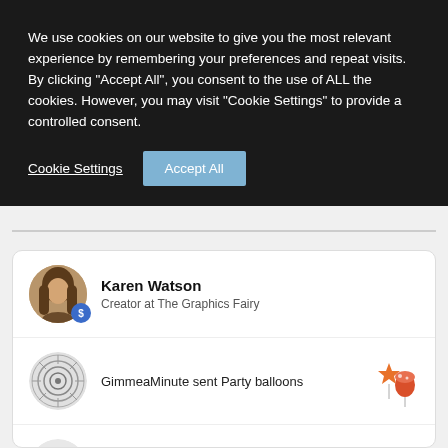We use cookies on our website to give you the most relevant experience by remembering your preferences and repeat visits. By clicking "Accept All", you consent to the use of ALL the cookies. However, you may visit "Cookie Settings" to provide a controlled consent.
Cookie Settings
Accept All
[Figure (photo): Profile photo of Karen Watson, a woman with long brown hair]
Karen Watson
Creator at The Graphics Fairy
[Figure (illustration): Swirling spiral avatar icon in grayscale]
GimmeaMinute sent Party balloons
[Figure (illustration): Party balloons emoji: orange star and mushroom balloons]
[Figure (illustration): Generic person silhouette avatar in light gray]
Catherine sent Party balloons
for 400 Free Vintage Halloween Images!
[Figure (illustration): Faded party balloons illustration]